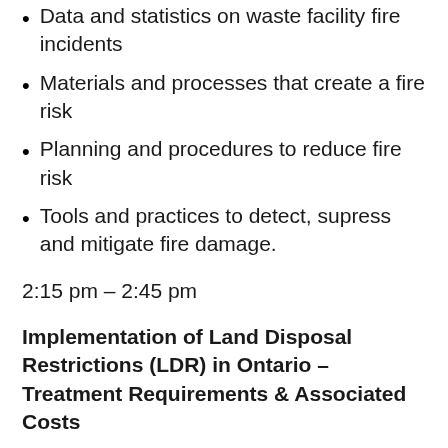Data and statistics on waste facility fire incidents
Materials and processes that create a fire risk
Planning and procedures to reduce fire risk
Tools and practices to detect, supress and mitigate fire damage.
2:15 pm – 2:45 pm
Implementation of Land Disposal Restrictions (LDR) in Ontario – Treatment Requirements & Associated Costs
Erica Carabott, Senior Environmental Compliance Manager, Clean Harbours Inc.
The field of hazardous waste management in Ontario is complex and places an onus on all parties involved, including, generators, carriers, transfer and